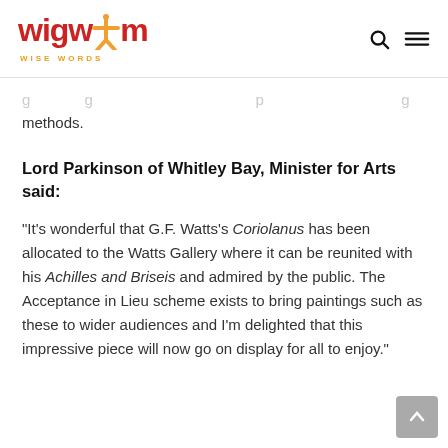wigwam WISE WORDS
…g … g … p … methods.
Lord Parkinson of Whitley Bay, Minister for Arts said:
“It’s wonderful that G.F. Watts’s Coriolanus has been allocated to the Watts Gallery where it can be reunited with his Achilles and Briseis and admired by the public. The Acceptance in Lieu scheme exists to bring paintings such as these to wider audiences and I’m delighted that this impressive piece will now go on display for all to enjoy.”